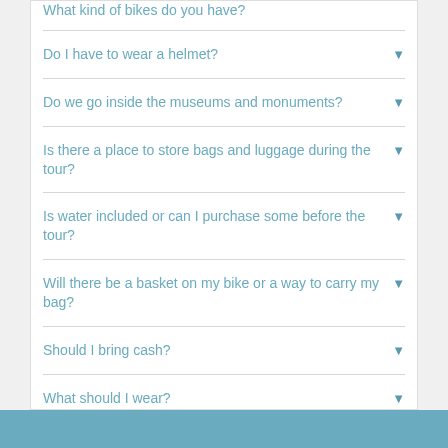What kind of bikes do you have?
Do I have to wear a helmet?
Do we go inside the museums and monuments?
Is there a place to store bags and luggage during the tour?
Is water included or can I purchase some before the tour?
Will there be a basket on my bike or a way to carry my bag?
Should I bring cash?
What should I wear?